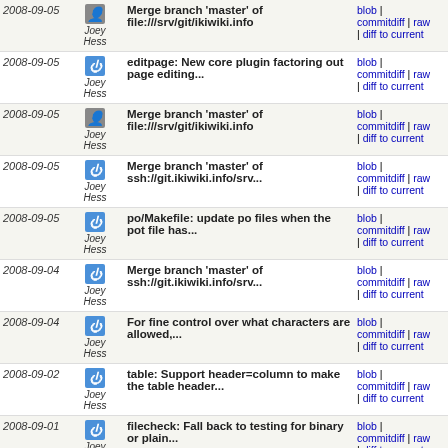| Date | Author | Commit | Links |
| --- | --- | --- | --- |
| 2008-09-05 | Joey Hess | Merge branch 'master' of file:///srv/git/ikiwiki.info | blob | commitdiff | raw | diff to current |
| 2008-09-05 | Joey Hess | editpage: New core plugin factoring out page editing... | blob | commitdiff | raw | diff to current |
| 2008-09-05 | Joey Hess | Merge branch 'master' of file:///srv/git/ikiwiki.info | blob | commitdiff | raw | diff to current |
| 2008-09-05 | Joey Hess | Merge branch 'master' of ssh://git.ikiwiki.info/srv... | blob | commitdiff | raw | diff to current |
| 2008-09-05 | Joey Hess | po/Makefile: update po files when the pot file has... | blob | commitdiff | raw | diff to current |
| 2008-09-04 | Joey Hess | Merge branch 'master' of ssh://git.ikiwiki.info/srv... | blob | commitdiff | raw | diff to current |
| 2008-09-04 | Joey Hess | For fine control over what characters are allowed,... | blob | commitdiff | raw | diff to current |
| 2008-09-02 | Joey Hess | table: Support header=column to make the table header... | blob | commitdiff | raw | diff to current |
| 2008-09-01 | Joey Hess | filecheck: Fall back to testing for binary or plain... | blob | commitdiff | raw | diff to current |